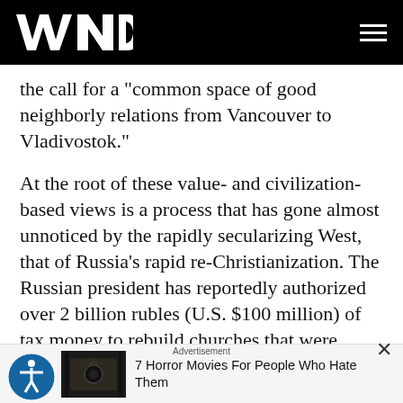WND
the call for a "common space of good neighborly relations from Vancouver to Vladivostok."
At the root of these value- and civilization-based views is a process that has gone almost unnoticed by the rapidly secularizing West, that of Russia's rapid re-Christianization. The Russian president has reportedly authorized over 2 billion rubles (U.S. $100 million) of tax money to rebuild churches that were destroyed under the previous Soviet regime. Furthermore, over the past quarter century, since the fall of communism, the ROC has built or restored from ruins more than 25,000
Advertisement
7 Horror Movies For People Who Hate Them